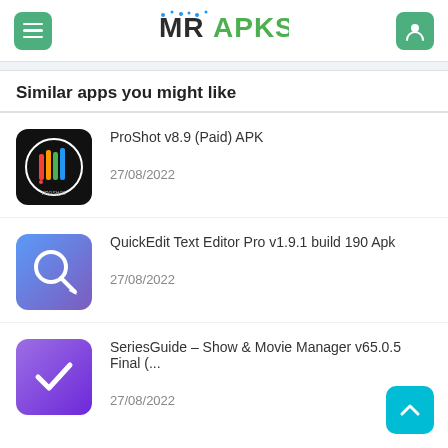MRAPKS
Similar apps you might like
ProShot v8.9 (Paid) APK
27/08/2022
QuickEdit Text Editor Pro v1.9.1 build 190 Apk
27/08/2022
SeriesGuide – Show & Movie Manager v65.0.5 Final (...
27/08/2022